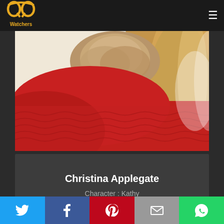[Figure (logo): QP Watchers logo - golden double-Q/headphone shape with 'Watchers' text in yellow]
[Figure (photo): Close-up photo of a blonde woman in a red sweater/knit top, cropped at neck level, light background]
Christina Applegate
Character : Kathy
[Figure (infographic): Social media sharing bar with Twitter, Facebook, Pinterest, Email, and WhatsApp icons]